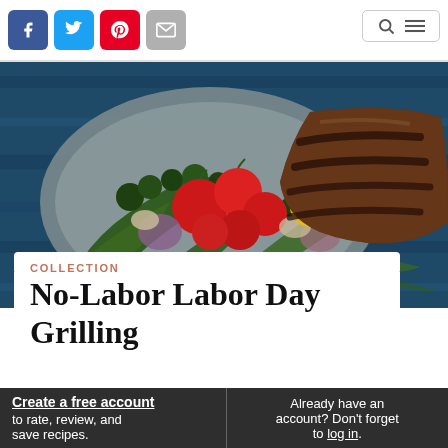Social share icons (Facebook, Twitter, Pinterest, Mail) and navigation icons (Search, Menu)
[Figure (photo): Overhead photo of grilled vegetables and steak on a plate — cherry tomatoes, broccoli rabe, garlic, mushrooms, and a large grilled steak with grill marks, set on a blue wooden surface.]
COLLECTION
No-Labor Labor Day Grilling
Create a free account to rate, review, and save recipes.
Already have an account? Don't forget to log in.